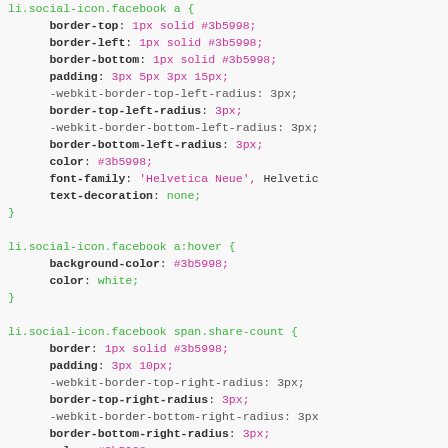CSS code block showing li.social-icon.facebook selectors with border, padding, color, font-family, text-decoration, background-color properties